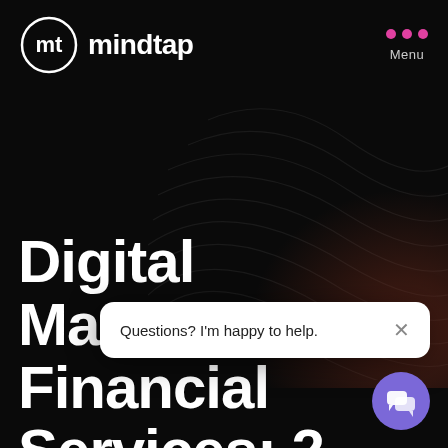[Figure (logo): MindTap logo: circular 'mt' icon in white on black, with text 'mindtap' in white sans-serif]
Menu
[Figure (illustration): Abstract wavy flowing lines in dark gray forming a topographic/sound-wave pattern on black background, with reddish-brown glow at bottom right]
Digital Marketing for Financial Services: 2 Unique A
[Figure (screenshot): White chat popup overlay with text 'Questions? I'm happy to help.' and an X close button, plus a purple circular chat button below]
Questions? I'm happy to help.